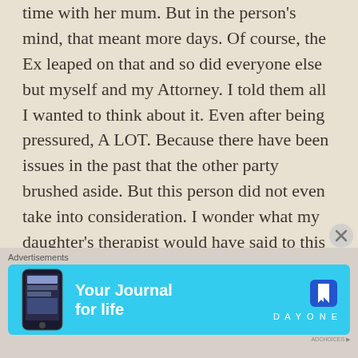time with her mum. But in the person's mind, that meant more days. Of course, the Ex leaped on that and so did everyone else but myself and my Attorney. I told them all I wanted to think about it. Even after being pressured, A LOT. Because there have been issues in the past that the other party brushed aside. But this person did not even take into consideration. I wonder what my daughter's therapist would have said to this idea. So I danced the question around Niamh trying not to say too much. Asked her a follow up
[Figure (infographic): Advertisement banner for DayOne app - 'Your Journal for life' with cyan/blue background, phone mockup on left, DayOne bookmark icon on right]